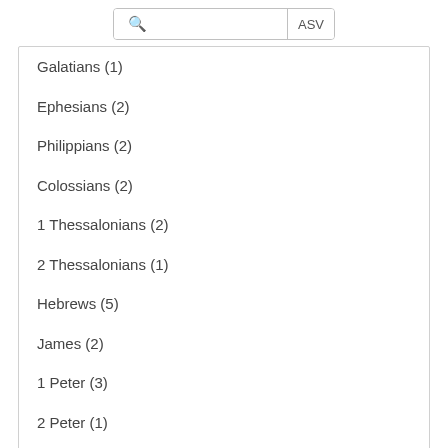🔍  ASV
Galatians (1)
Ephesians (2)
Philippians (2)
Colossians (2)
1 Thessalonians (2)
2 Thessalonians (1)
Hebrews (5)
James (2)
1 Peter (3)
2 Peter (1)
Revelation (49)
Related Words